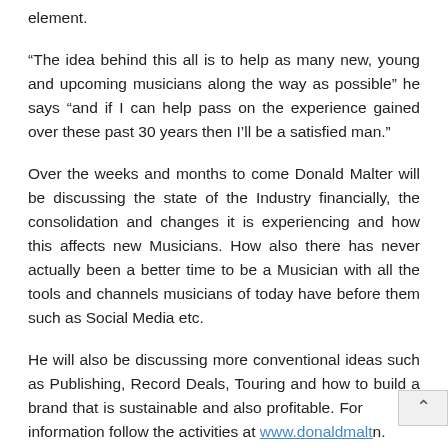element.
“The idea behind this all is to help as many new, young and upcoming musicians along the way as possible” he says “and if I can help pass on the experience gained over these past 30 years then I’ll be a satisfied man.”
Over the weeks and months to come Donald Malter will be discussing the state of the Industry financially, the consolidation and changes it is experiencing and how this affects new Musicians. How also there has never actually been a better time to be a Musician with all the tools and channels musicians of today have before them such as Social Media etc.
He will also be discussing more conventional ideas such as Publishing, Record Deals, Touring and how to build a brand that is sustainable and also profitable. For more information follow the activities at www.donaldmalt[...].n.